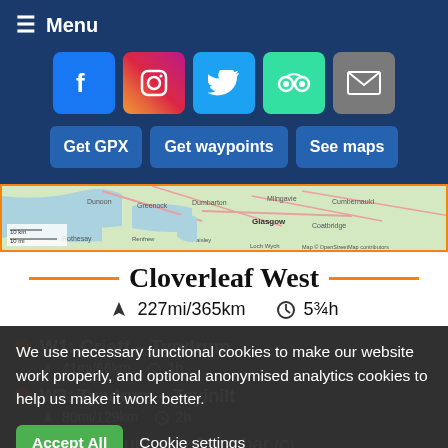Menu
[Figure (screenshot): Social media icons row: Facebook, Instagram, Twitter, TripAdvisor, Email]
[Figure (other): Buttons: Get GPX, Get waypoints, See maps]
[Figure (map): OpenStreetMap showing Scotland region with orange border]
Cloverleaf West
227mi/365km  5¾h
W1: Crieff – Tyndrum  41mi/66km  1h
W2: Tyndrum – Tayinilt  80mi/129km  2h
W3: Tayinuilt (B) – Arrochar (C)
We use necessary functional cookies to make our website work properly, and optional anonymised analytics cookies to help us make it work better.
Accept All  Cookie settings  Privacy and cookies policy